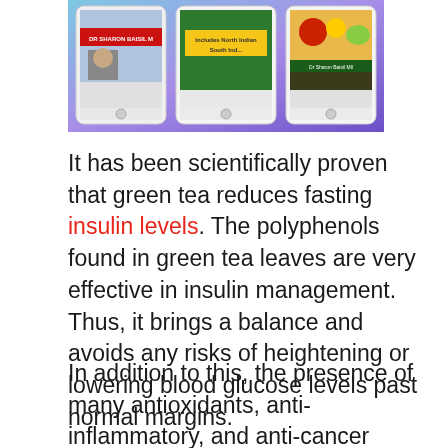[Figure (illustration): Three tablet/iPad devices displaying book covers related to diabetes diet by Dr. Sharon Baisil M, including North Indian and South Indian food options, shown against a colorful background.]
It has been scientifically proven that green tea reduces fasting insulin levels. The polyphenols found in green tea leaves are very effective in insulin management. Thus, it brings a balance and avoids any risks of heightening or lowering blood glucose levels past normal margins.
In addition to this, the presence of many antioxidants, anti-inflammatory, and anti-cancer qualities all help keep the body protected against the internal damage